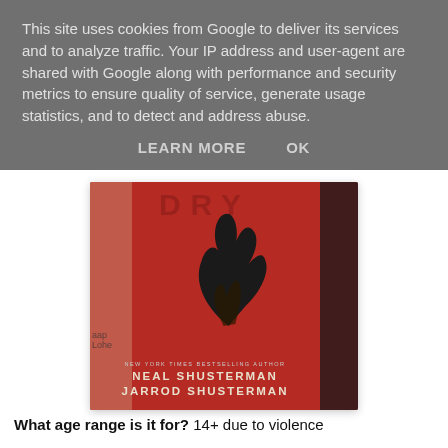This site uses cookies from Google to deliver its services and to analyze traffic. Your IP address and user-agent are shared with Google along with performance and security metrics to ensure quality of service, generate usage statistics, and to detect and address abuse.
LEARN MORE   OK
[Figure (photo): A hand holding a red book cover titled 'DRY' by Neal Shusterman and Jarrod Shusterman, with a black flame/hand silhouette on the cover. Another hand visible in dark background.]
What age range is it for? 14+ due to violence
Are any main characters LGBTQ+? No